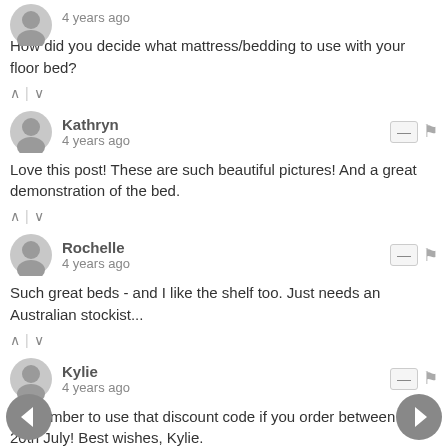4 years ago
How did you decide what mattress/bedding to use with your floor bed?
^ | v
Kathryn
4 years ago
Love this post! These are such beautiful pictures! And a great demonstration of the bed.
^ | v
Rochelle
4 years ago
Such great beds - and I like the shelf too. Just needs an Australian stockist...
^ | v
Kylie
4 years ago
Remember to use that discount code if you order between 13-20th July! Best wishes, Kylie.